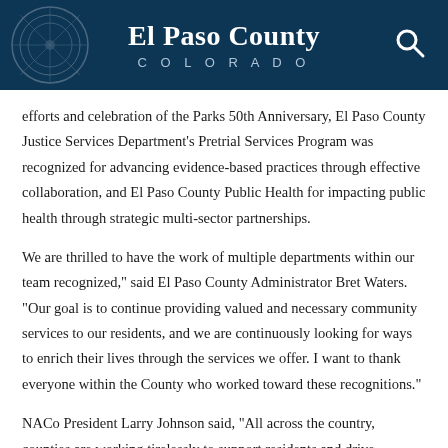El Paso County COLORADO
efforts and celebration of the Parks 50th Anniversary, El Paso County Justice Services Department’s Pretrial Services Program was recognized for advancing evidence-based practices through effective collaboration, and El Paso County Public Health for impacting public health through strategic multi-sector partnerships.
We are thrilled to have the work of multiple departments within our team recognized,” said El Paso County Administrator Bret Waters. “Our goal is to continue providing valued and necessary community services to our residents, and we are continuously looking for ways to enrich their lives through the services we offer. I want to thank everyone within the County who worked toward these recognitions.”
NACo President Larry Johnson said, “All across the country, counties are working tirelessly to support residents and drive recovery from the